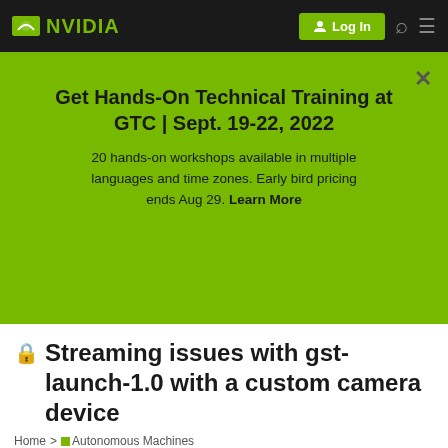NVIDIA | Log In
Get Hands-On Technical Training at GTC | Sept. 19-22, 2022
20 hands-on workshops available in multiple languages and time zones. Early bird pricing ends Aug 29. Learn More
🔒 Streaming issues with gst-launch-1.0 with a custom camera device
Home > Autonomous Machines Jetson & Embedded Systems Jetson TX2
pholden 1/82